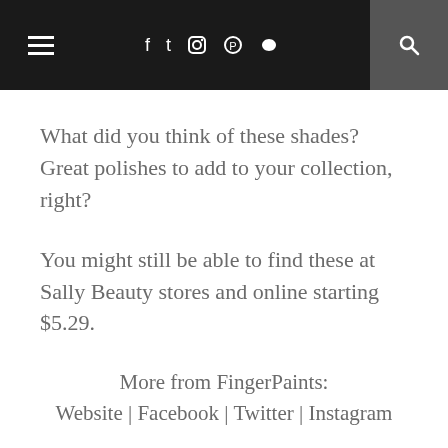≡ f t ☎ ℗ ♥ 🔍
What did you think of these shades? Great polishes to add to your collection, right?
You might still be able to find these at Sally Beauty stores and online starting $5.29.
More from FingerPaints:
Website | Facebook | Twitter | Instagram